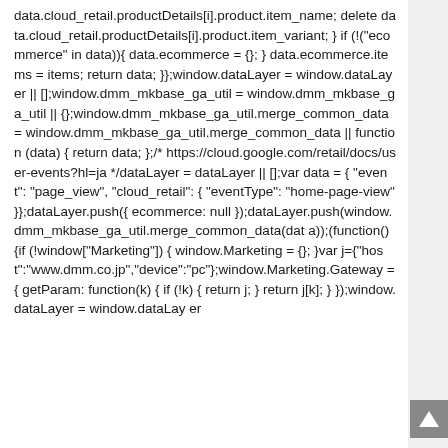data.cloud_retail.productDetails[i].product.item_name; delete data.cloud_retail.productDetails[i].product.item_variant; } if (!("ecommerce" in data)){ data.ecommerce = {}; } data.ecommerce.items = items; return data; }};window.dataLayer = window.dataLayer || [];window.dmm_mkbase_ga_util = window.dmm_mkbase_ga_util || {};window.dmm_mkbase_ga_util.merge_common_data = window.dmm_mkbase_ga_util.merge_common_data || function (data) { return data; };/* https://cloud.google.com/retail/docs/user-events?hl=ja */dataLayer = dataLayer || [];var data = { "event": "page_view", "cloud_retail": { "eventType": "home-page-view" }};dataLayer.push({ ecommerce: null });dataLayer.push(window.dmm_mkbase_ga_util.merge_common_data(data));(function() {if (!window["Marketing"]) { window.Marketing = {}; }var j={"host":"www.dmm.co.jp","device":"pc"};window.Marketing.Gateway = { getParam: function(k) { if (!k) { return j; } return j[k]; } });window.dataLayer = window.dataLayer